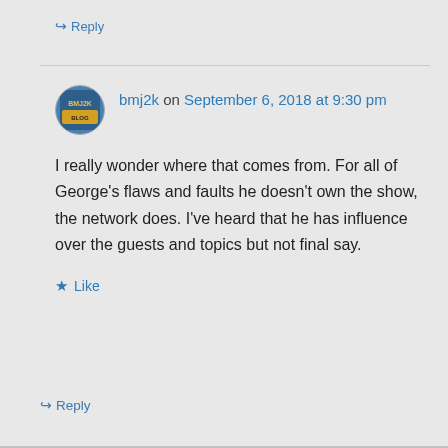↳ Reply
bmj2k on September 6, 2018 at 9:30 pm
I really wonder where that comes from. For all of George's flaws and faults he doesn't own the show, the network does. I've heard that he has influence over the guests and topics but not final say.
★ Like
↳ Reply